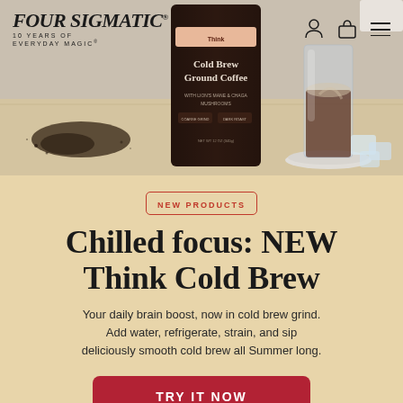[Figure (photo): Four Sigmatic product photo showing Think Cold Brew ground coffee bag, a glass of cold brew on a marble coaster, spilled coffee grounds, and ice cubes on a wooden surface. Navigation icons for user account, cart, and menu are visible in the top right.]
FOUR SIGMATIC® 10 YEARS OF EVERYDAY MAGIC®
NEW PRODUCTS
Chilled focus: NEW Think Cold Brew
Your daily brain boost, now in cold brew grind. Add water, refrigerate, strain, and sip deliciously smooth cold brew all Summer long.
TRY IT NOW